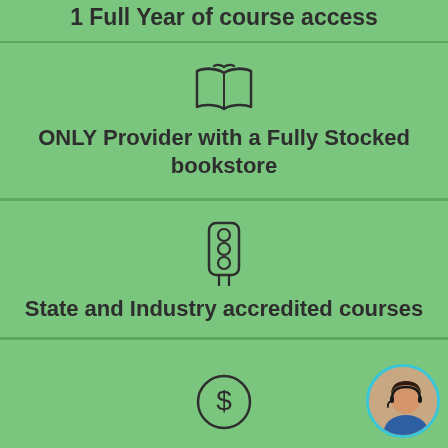1 Full Year of course access
[Figure (illustration): Open book icon]
ONLY Provider with a Fully Stocked bookstore
[Figure (illustration): Traffic light icon]
State and Industry accredited courses
[Figure (illustration): Dollar sign circle icon]
[Figure (photo): Customer support representative with headset]